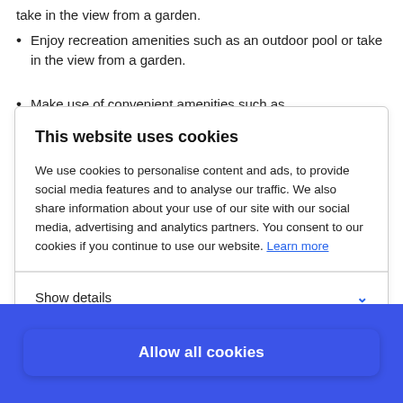take in the view from a garden.
Enjoy recreation amenities such as an outdoor pool or take in the view from a garden.
Make use of convenient amenities such as
This website uses cookies
We use cookies to personalise content and ads, to provide social media features and to analyse our traffic. We also share information about your use of our site with our social media, advertising and analytics partners. You consent to our cookies if you continue to use our website. Learn more
Show details
Allow all cookies